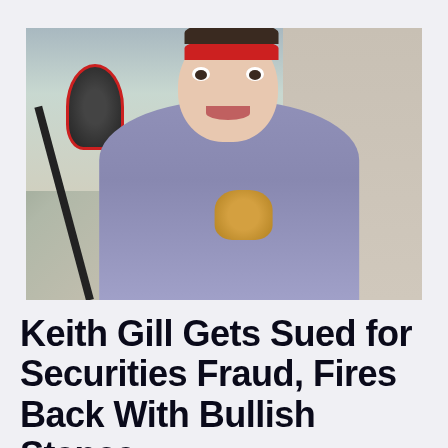[Figure (photo): A man wearing a red headband and a tie-dye shirt with a cat graphic sits in front of a podcast-style microphone with a red design. He has an expressive, wide-eyed look. The background shows a window and a neutral-colored wall.]
Keith Gill Gets Sued for Securities Fraud, Fires Back With Bullish Stance